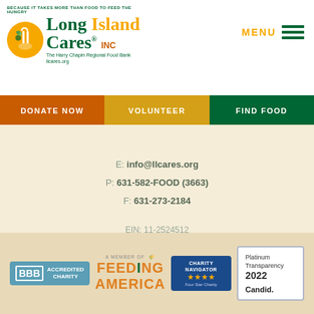[Figure (logo): Long Island Cares Inc logo - The Harry Chapin Regional Food Bank, llcares.org]
[Figure (infographic): MENU navigation icon with three green horizontal lines]
DONATE NOW | VOLUNTEER | FIND FOOD (navigation bar)
E: info@llcares.org
P: 631-582-FOOD (3663)
F: 631-273-2184
EIN: 11-2524512
Long Island Cares is a 501(c)(3) registered charity
[Figure (logo): BBB Accredited Charity badge]
[Figure (logo): A Member of Feeding America logo]
[Figure (logo): Charity Navigator Four Star Charity badge]
[Figure (logo): Platinum Transparency 2022 Candid badge]